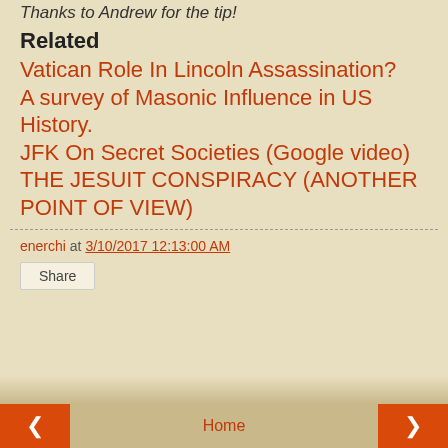Thanks to Andrew for the tip!
Related
Vatican Role In Lincoln Assassination?
A survey of Masonic Influence in US History.
JFK On Secret Societies (Google video)
THE JESUIT CONSPIRACY (ANOTHER POINT OF VIEW)
enerchi at 3/10/2017 12:13:00 AM
Share
< Home >